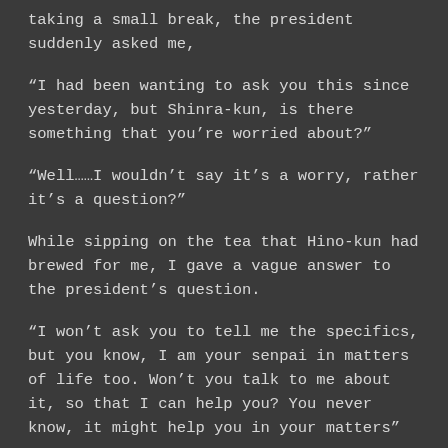taking a small break, the president suddenly asked me,
“I had been wanting to ask you this since yesterday, but Shinra-kun, is there something that you’re worried about?”
“Well……I wouldn’t say it’s a worry, rather it’s a question?”
While sipping on the tea that Hino-kun had brewed for me, I gave a vague answer to the president’s question.
“I won’t ask you to tell me the specifics, but you know, I am your senpai in matters of life too. Won’t you talk to me about it, so that I can help you? You never know, it might help you in your matters.”